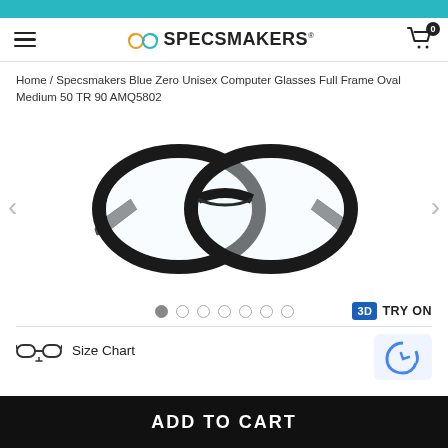specsmakers
Home / Specsmakers Blue Zero Unisex Computer Glasses Full Frame Oval Medium 50 TR 90 AMQ5802
[Figure (photo): Product photo of black oval full-frame computer glasses (Specsmakers Blue Zero AMQ5802) shown from a front-angled view with navigation arrows on either side]
3D TRY ON
Size Chart
ADD TO CART